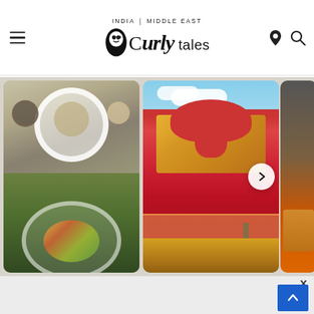Curly Tales — INDIA | MIDDLE EAST
[Figure (screenshot): Website screenshot of Curly Tales showing a navigation header with hamburger menu, Curly Tales logo with INDIA | MIDDLE EAST tagline, location pin and search icons, and a carousel of images including food dishes and a large pink Ganesha statue]
[Figure (photo): Carousel slide showing overhead view of healthy food dishes/salads]
[Figure (photo): Carousel slide showing a large pink Ganesha statue against blue sky]
[Figure (photo): Partial right carousel slide showing food bowl]